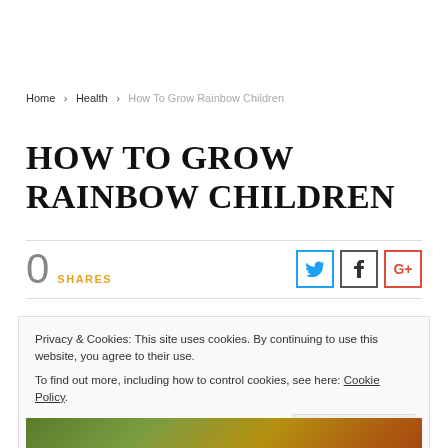Home > Health > How To Grow Rainbow Children
HOW TO GROW RAINBOW CHILDREN
0 SHARES
Privacy & Cookies: This site uses cookies. By continuing to use this website, you agree to their use.
To find out more, including how to control cookies, see here: Cookie Policy
Close and accept